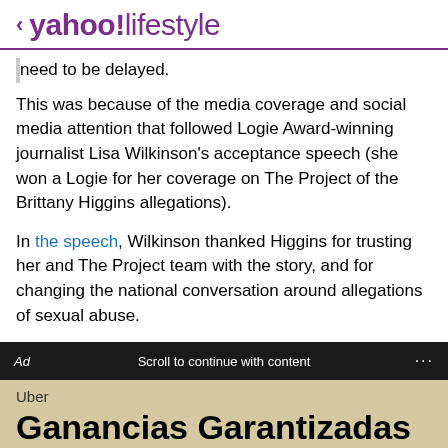< yahoo!lifestyle
need to be delayed.
This was because of the media coverage and social media attention that followed Logie Award-winning journalist Lisa Wilkinson's acceptance speech (she won a Logie for her coverage on The Project of the Brittany Higgins allegations).
In the speech, Wilkinson thanked Higgins for trusting her and The Project team with the story, and for changing the national conversation around allegations of sexual abuse.
Ad   Scroll to continue with content   ...
Uber
Ganancias Garantizadas
Gana según tu propio horario. Ve cuánto